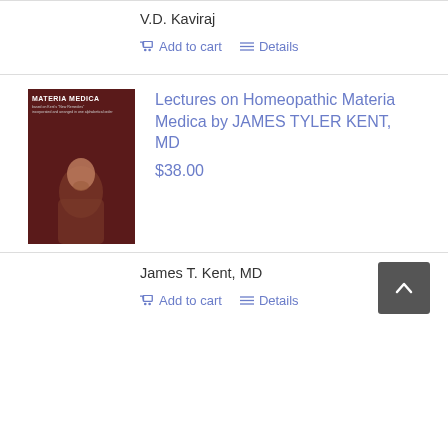V.D. Kaviraj
Add to cart   Details
Lectures on Homeopathic Materia Medica by JAMES TYLER KENT, MD
$38.00
[Figure (photo): Book cover of Materia Medica showing a portrait of a bearded man in Victorian-era clothing, dark red/brown background with text 'MATERIA MEDICA' at top]
James T. Kent, MD
Add to cart   Details